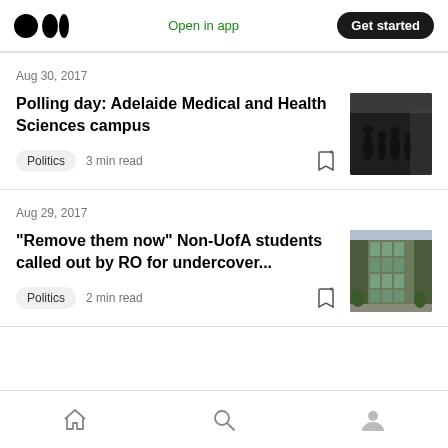Medium logo | Open in app | Get started
Aug 30, 2017
Polling day: Adelaide Medical and Health Sciences campus
Politics  3 min read
[Figure (photo): Dark photo of people in a building lobby or entrance, silhouettes visible]
Aug 29, 2017
“Remove them now” Non-UofA students called out by RO for undercover...
Politics  2 min read
[Figure (photo): Exterior photo of a modern multi-story building with green glass facade]
Home | Search | Profile